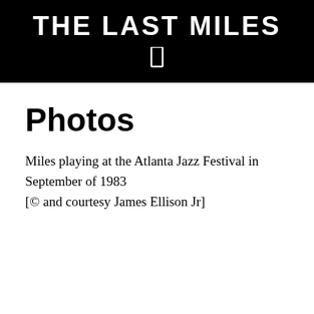THE LAST MILES
Photos
Miles playing at the Atlanta Jazz Festival in September of 1983
[© and courtesy James Ellison Jr]